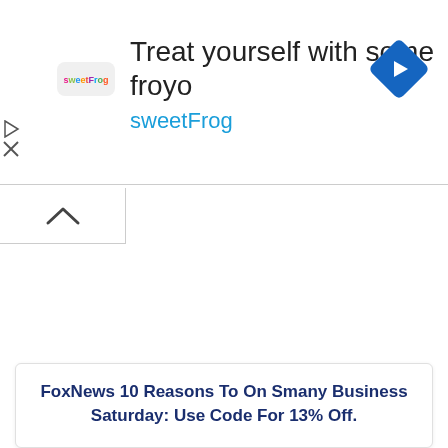[Figure (infographic): sweetFrog frozen yogurt advertisement banner. Shows sweetFrog logo on left, large text 'Treat yourself with some froyo' and 'sweetFrog' in blue below, blue diamond navigation icon on right.]
[Figure (other): Collapse/hide button with upward chevron arrow, indicating the ad can be collapsed.]
FoxNews 10 Reasons To On Smany Business Saturday: Use Code For 13% Off.